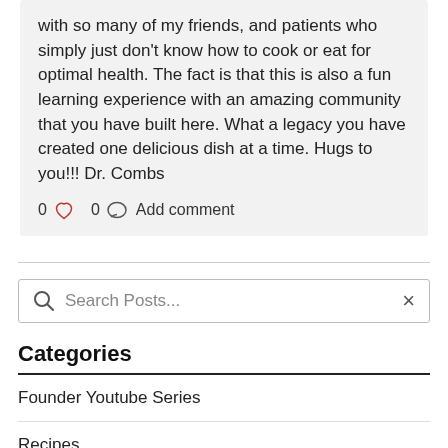with so many of my friends, and patients who simply just don’t know how to cook or eat for optimal health. The fact is that this is also a fun learning experience with an amazing community that you have built here. What a legacy you have created one delicious dish at a time. Hugs to you!!! Dr. Combs
0 ♥ 0 💬 Add comment
[Figure (screenshot): Search bar with magnifying glass icon and placeholder text 'Search Posts...' and an X close button]
Categories
Founder Youtube Series
Recipes